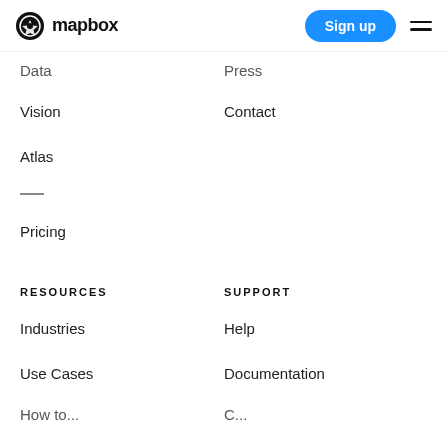mapbox | Sign up
Data
Press
Vision
Contact
Atlas
Pricing
RESOURCES
SUPPORT
Industries
Help
Use Cases
Documentation